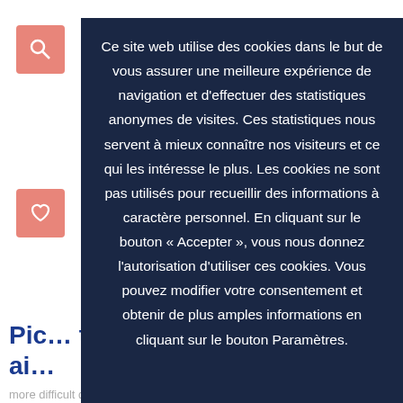Ce site web utilise des cookies dans le but de vous assurer une meilleure expérience de navigation et d'effectuer des statistiques anonymes de visites. Ces statistiques nous servent à mieux connaître nos visiteurs et ce qui les intéresse le plus. Les cookies ne sont pas utilisés pour recueillir des informations à caractère personnel. En cliquant sur le bouton « Accepter », vous nous donnez l'autorisation d'utiliser ces cookies. Vous pouvez modifier votre consentement et obtenir de plus amples informations en cliquant sur le bouton Paramètres.
Pic… tu ai…
Wal… Eur… Des… g holi… lan… or more difficult daywalks.